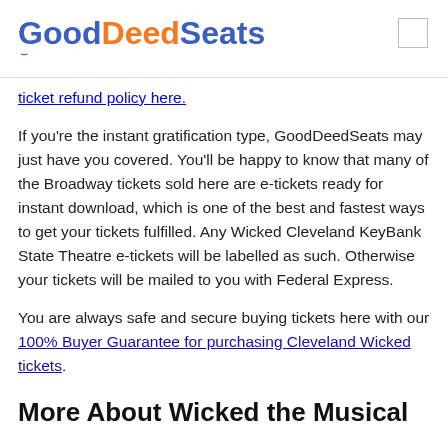GoodDeedSeats
ticket refund policy here.
If you're the instant gratification type, GoodDeedSeats may just have you covered. You'll be happy to know that many of the Broadway tickets sold here are e-tickets ready for instant download, which is one of the best and fastest ways to get your tickets fulfilled. Any Wicked Cleveland KeyBank State Theatre e-tickets will be labelled as such. Otherwise your tickets will be mailed to you with Federal Express.
You are always safe and secure buying tickets here with our 100% Buyer Guarantee for purchasing Cleveland Wicked tickets.
More About Wicked the Musical
Wicked: The Untold Story of the Witches of Oz is the